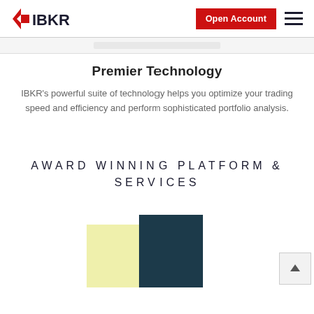IBKR — Open Account
Premier Technology
IBKR's powerful suite of technology helps you optimize your trading speed and efficiency and perform sophisticated portfolio analysis.
AWARD WINNING PLATFORM & SERVICES
[Figure (illustration): Two overlapping rectangular panels — a light yellow square on the left and a dark navy/teal rectangle on the right, partially overlapping, serving as a decorative graphic for the awards section.]